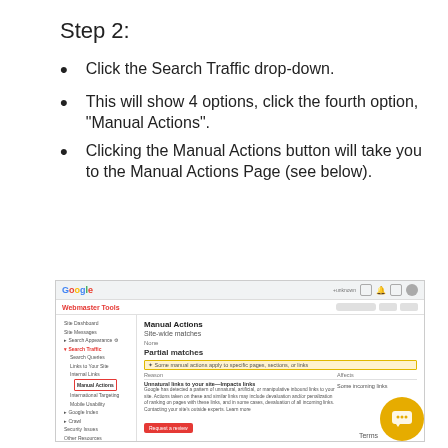Step 2:
Click the Search Traffic drop-down.
This will show 4 options, click the fourth option, "Manual Actions".
Clicking the Manual Actions button will take you to the Manual Actions Page (see below).
[Figure (screenshot): Screenshot of Google Webmaster Tools showing the Manual Actions page with Site-wide matches section showing 'None' and Partial matches section. The left sidebar shows Search Traffic expanded with 'Manual Actions' highlighted in a red box. There is a highlighted row in the main content area and a red 'Request a review' button. A gold chat bubble icon appears in the bottom right corner.]